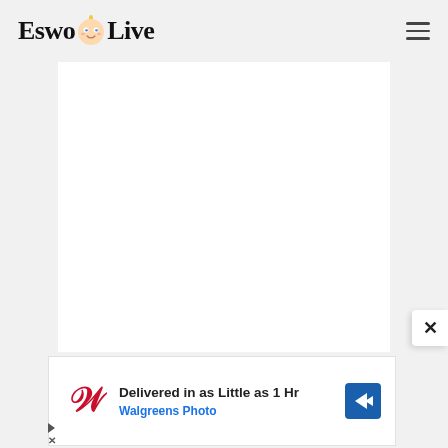[Figure (logo): EswoLive website logo with baby face emoji between 'Eswo' and 'Live' text in bold cursive font]
[Figure (other): Hamburger menu icon (three horizontal lines) in top right of header]
[Figure (other): Large white content area / advertisement placeholder box]
[Figure (other): Close/dismiss button (X) on right side]
[Figure (other): Walgreens Photo advertisement banner: 'Delivered in as Little as 1 Hr' with Walgreens W logo and navigation arrow icon, with ad play and skip controls below]